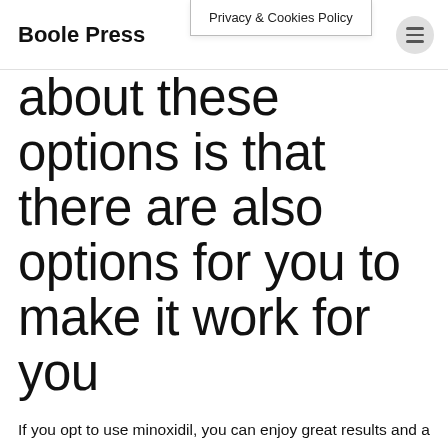Boole Press | Privacy & Cookies Policy
about these options is that there are also options for you to make it work for you
If you opt to use minoxidil, you can enjoy great results and a fast onset of hair growth because you have a very high success rate of 3:1 for minoxidil for women. The side effects will be one of the side effects you are able to avoid, and when the side effects do happen, they will be the less of a problem as it was not that long you had been taking the drug.
The best option is to recall the options that will